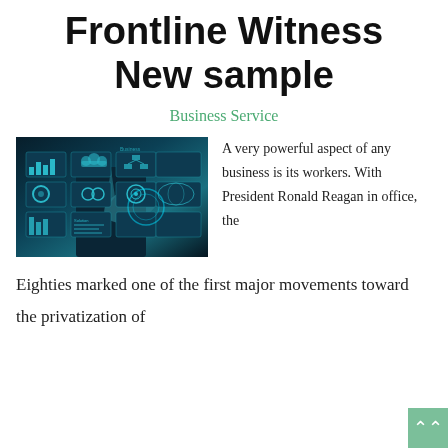Frontline Witness
New sample
Business Service
[Figure (photo): Person in suit touching a digital business interface screen with icons representing business analytics, cloud, charts, and solutions]
A very powerful aspect of any business is its workers. With President Ronald Reagan in office, the Eighties marked one of the first major movements toward the privatization of